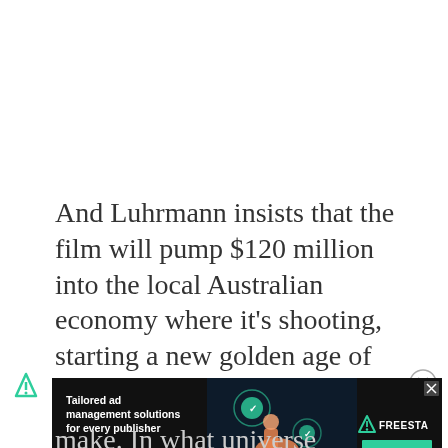And Luhrmann insists that the film will pump $120 million into the local Australian economy where it's shooting, starting a new golden age of Australian film production.
[Figure (other): Advertisement banner for Freesta ad management solutions. Dark background with decorative tech/digital imagery, text reading 'Tailored ad management solutions for every publisher', Freesta logo with a triangle icon, and a 'LEARN MORE' button.]
make. In what universe